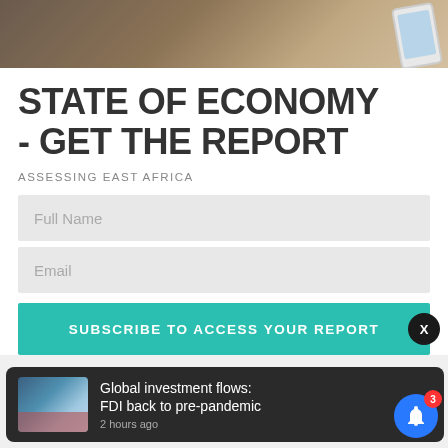[Figure (photo): Dark wood table background with a smartphone partially visible in the upper right corner]
STATE OF ECONOMY - GET THE REPORT
ASSESSING EAST AFRICA
Full Name
Email
SUBSCRIBE TO ACCESS YOUR REPORT
Global investment flows: FDI back to pre-pandemic
2 hours ago